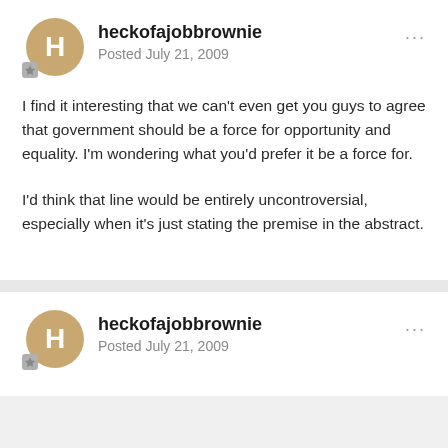heckofajobbrownie
Posted July 21, 2009
I find it interesting that we can't even get you guys to agree that government should be a force for opportunity and equality. I'm wondering what you'd prefer it be a force for.
I'd think that line would be entirely uncontroversial, especially when it's just stating the premise in the abstract.
heckofajobbrownie
Posted July 21, 2009